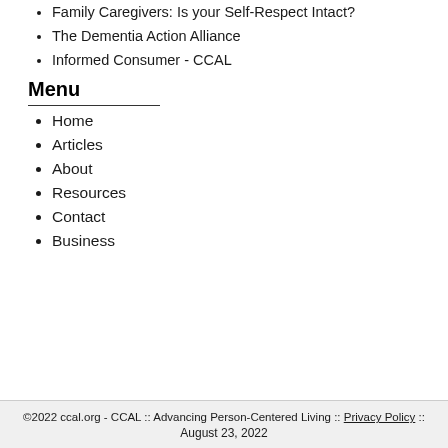Family Caregivers: Is your Self-Respect Intact?
The Dementia Action Alliance
Informed Consumer - CCAL
Menu
Home
Articles
About
Resources
Contact
Business
©2022 ccal.org - CCAL :: Advancing Person-Centered Living :: Privacy Policy :: August 23, 2022